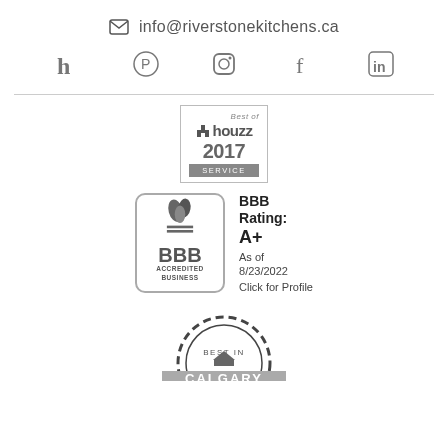✉ info@riverstonekitchens.ca
[Figure (illustration): Social media icons row: Houzz (h), Pinterest, Instagram, Facebook, LinkedIn]
[Figure (logo): Best of Houzz 2017 SERVICE badge]
[Figure (logo): BBB Accredited Business badge with BBB Rating: A+ As of 8/23/2022 Click for Profile]
[Figure (logo): Best in Calgary badge (gear/seal shape), partially visible at bottom]